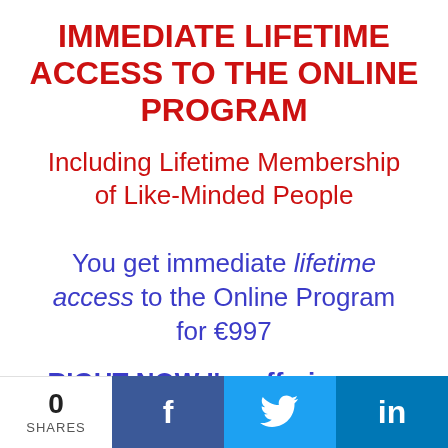IMMEDIATE LIFETIME ACCESS TO THE ONLINE PROGRAM
Including Lifetime Membership of Like-Minded People
You get immediate lifetime access to the Online Program for €997
RIGHT NOW I'm offering you
0 SHARES  f  Twitter  in